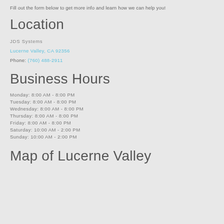Fill out the form below to get more info and learn how we can help you!
Location
JDS Systems
Lucerne Valley, CA 92356
Phone: (760) 488-2911
Business Hours
Monday: 8:00 AM - 8:00 PM
Tuesday: 8:00 AM - 8:00 PM
Wednesday: 8:00 AM - 8:00 PM
Thursday: 8:00 AM - 8:00 PM
Friday: 8:00 AM - 8:00 PM
Saturday: 10:00 AM - 2:00 PM
Sunday: 10:00 AM - 2:00 PM
Map of Lucerne Valley